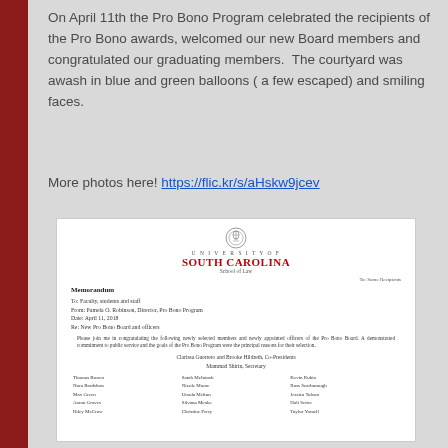On April 11th the Pro Bono Program celebrated the recipients of the Pro Bono awards, welcomed our new Board members and congratulated our graduating members.  The courtyard was awash in blue and green balloons ( a few escaped) and smiling faces.
More photos here! https://flic.kr/s/aHskw9jcev
[Figure (photo): Image of a University of South Carolina School of Law memorandum dated April 11, 2018, from Pamela O. Robinson, Director, Pro Bono Program, to Faculty, students and staff, regarding New Pro Bono Board and officers, congratulating newly selected members and newly appointed officers of the Pro Bono Board. Lists Co-Presidents Clarissa Guerrero and Brooke Hildreth, Secretary Mammad Shirin, and columns of names: Thomas Brown, Nora Bradshaw, Max Green, Aaron Graves, Riley McCraw; Sarah McIntosh, Nicole Moore, Ursula Melton, Silvana Menke, Christine Perry; Kevin Rubio, Ross Scarborough, Jessica Tolson, Hali Seiter, Taylor Yarnell.]